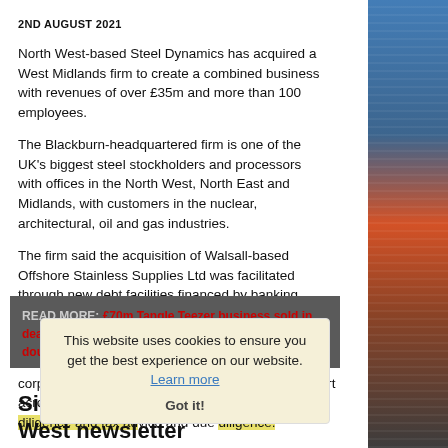2ND AUGUST 2021
North West-based Steel Dynamics has acquired a West Midlands firm to create a combined business with revenues of over £35m and more than 100 employees.
The Blackburn-headquartered firm is one of the UK's biggest steel stockholders and processors with offices in the North West, North East and Midlands, with customers in the nuclear, architectural, oil and gas industries.
The firm said the acquisition of Walsall-based Offshore Stainless Supplies Ltd was facilitated through new debt facilities financed by banking group Close Brothers.
READ MORE: £70m Tangle Teezer business sold in deal that gives founder the last laugh over dragon doubters
This website uses cookies to ensure you get the best experience on our website. Learn more Got it!
Cowgills' Ian Johnson and Ben Barlow provided corporate finance lead advisory services with support across the team on debt advisory, financial due diligence and tax advice and due diligence.
Sign up for your free North West newsletter